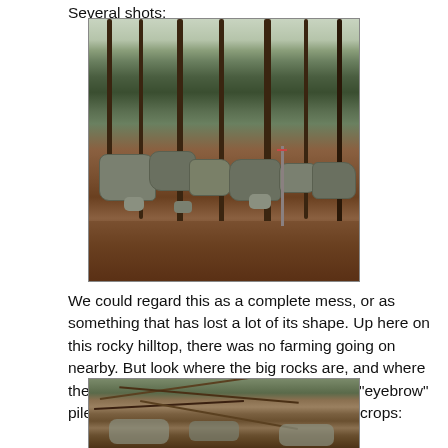Several shots:
[Figure (photo): Outdoor woodland scene showing large and small rocks/boulders arranged on a hillside among bare trees, with leaf-covered ground in a winter forest setting.]
We could regard this as a complete mess, or as something that has lost a lot of its shape. Up here on this rocky hilltop, there was no farming going on nearby. But look where the big rocks are, and where the small ones are. We see more of these "eyebrow" piles, delicately building out the natural outcrops:
[Figure (photo): Close-up ground-level view of a rocky outcrop or stone pile covered with sticks, leaves, and forest debris in a woodland setting.]